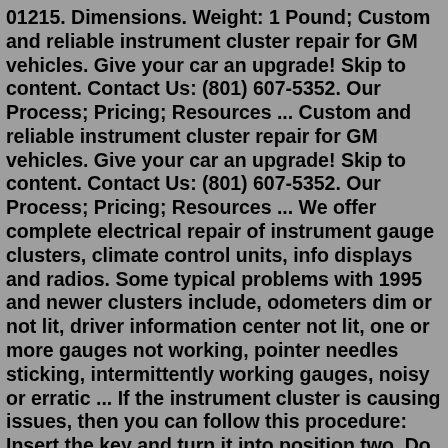01215. Dimensions. Weight: 1 Pound; Custom and reliable instrument cluster repair for GM vehicles. Give your car an upgrade! Skip to content. Contact Us: (801) 607-5352. Our Process; Pricing; Resources ... Custom and reliable instrument cluster repair for GM vehicles. Give your car an upgrade! Skip to content. Contact Us: (801) 607-5352. Our Process; Pricing; Resources ... We offer complete electrical repair of instrument gauge clusters, climate control units, info displays and radios. Some typical problems with 1995 and newer clusters include, odometers dim or not lit, driver information center not lit, one or more gauges not working, pointer needles sticking, intermittently working gauges, noisy or erratic ... If the instrument cluster is causing issues, then you can follow this procedure: Insert the key and turn it into position two. Do not start the vehicle. It must be in the position where all the lights on the odometer light up. Now, you have to press the reset button five times. Wait for the odometer to display information.Jun 19,